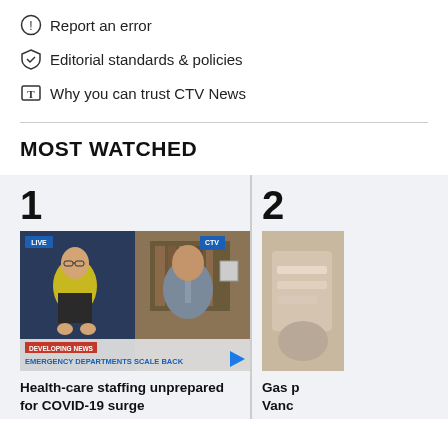Report an error
Editorial standards & policies
Why you can trust CTV News
MOST WATCHED
[Figure (screenshot): Video thumbnail showing a live news broadcast with two anchors, lower third reads 'DEVELOPING NEWS / EMERGENCY DEPARTMENTS SCALE BACK']
Health-care staffing unprepared for COVID-19 surge
[Figure (photo): Partial image of item 2, cropped at right edge]
Gas p Vanc